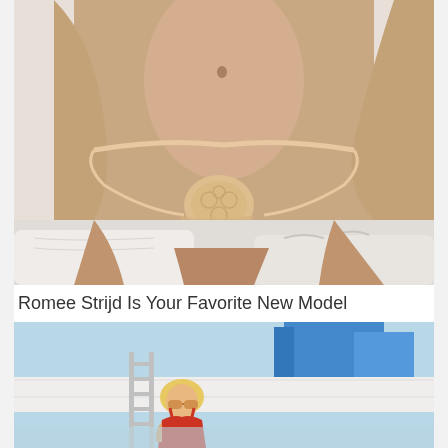[Figure (photo): Close-up photo of a model's midsection wearing a beige/nude lace and mesh thong underwear, with a white bedroom background visible at the bottom.]
Romee Strijd Is Your Favorite New Model
[Figure (photo): Photo of a blonde woman wearing red swimwear and large sunglasses, on what appears to be a yacht or boat with blue and white structures in the background.]